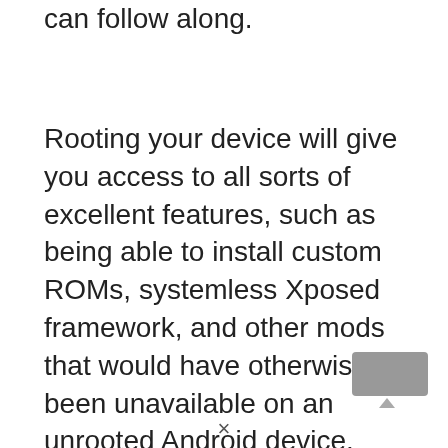can follow along.
Rooting your device will give you access to all sorts of excellent features, such as being able to install custom ROMs, systemless Xposed framework, and other mods that would have otherwise been unavailable on an unrooted Android device.